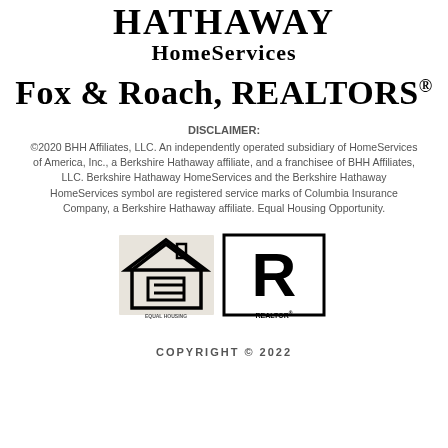[Figure (logo): Berkshire Hathaway HomeServices logo with 'HATHAWAY HomeServices' text]
Fox & Roach, REALTORS®
DISCLAIMER:
©2020 BHH Affiliates, LLC. An independently operated subsidiary of HomeServices of America, Inc., a Berkshire Hathaway affiliate, and a franchisee of BHH Affiliates, LLC. Berkshire Hathaway HomeServices and the Berkshire Hathaway HomeServices symbol are registered service marks of Columbia Insurance Company, a Berkshire Hathaway affiliate. Equal Housing Opportunity.
[Figure (logo): Equal Housing Opportunity logo and REALTOR® logo side by side]
COPYRIGHT © 2022